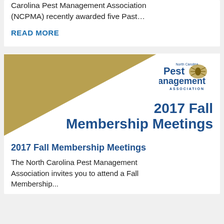Carolina Pest Management Association (NCPMA) recently awarded five Past…
READ MORE
[Figure (illustration): NCPMA 2017 Fall Membership Meetings banner with gold triangle graphic, NCPMA logo (North Carolina Pest Management Association with state outline and bug icon), and blue title text reading '2017 Fall Membership Meetings']
2017 Fall Membership Meetings
The North Carolina Pest Management Association invites you to attend a Fall Membership...